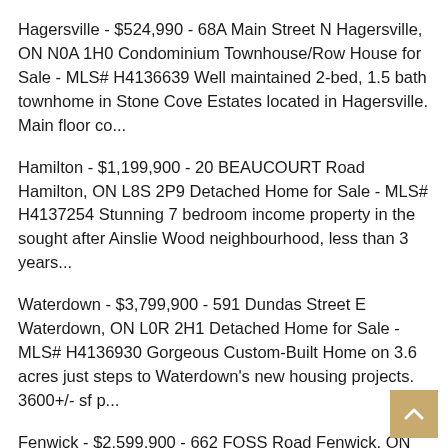Hagersville - $524,990 - 68A Main Street N Hagersville, ON N0A 1H0 Condominium Townhouse/Row House for Sale - MLS# H4136639 Well maintained 2-bed, 1.5 bath townhome in Stone Cove Estates located in Hagersville. Main floor co...
Hamilton - $1,199,900 - 20 BEAUCOURT Road Hamilton, ON L8S 2P9 Detached Home for Sale - MLS# H4137254 Stunning 7 bedroom income property in the sought after Ainslie Wood neighbourhood, less than 3 years...
Waterdown - $3,799,900 - 591 Dundas Street E Waterdown, ON L0R 2H1 Detached Home for Sale - MLS# H4136930 Gorgeous Custom-Built Home on 3.6 acres just steps to Waterdown's new housing projects. 3600+/- sf p...
Fenwick - $2,599,900 - 662 FOSS Road Fenwick, ON